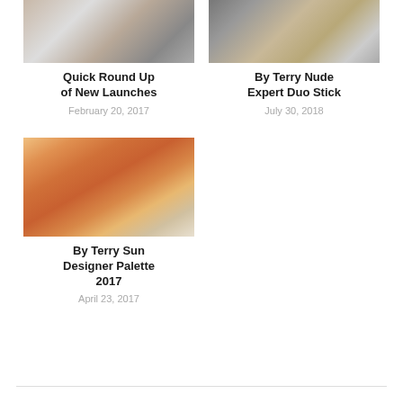[Figure (photo): Makeup compact with blush and eyeshadow palette in background]
Quick Round Up of New Launches
February 20, 2017
[Figure (photo): By Terry foundation stick product with green background]
By Terry Nude Expert Duo Stick
July 30, 2018
[Figure (photo): By Terry Sun Designer Palette with makeup brush and feather decoration]
By Terry Sun Designer Palette 2017
April 23, 2017